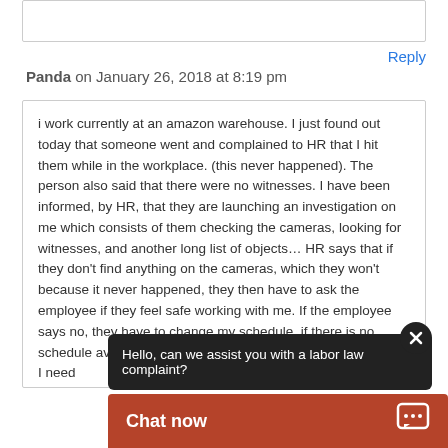Reply
Panda on January 26, 2018 at 8:19 pm
i work currently at an amazon warehouse. I just found out today that someone went and complained to HR that I hit them while in the workplace. (this never happened). The person also said that there were no witnesses. I have been informed, by HR, that they are launching an investigation on me which consists of them checking the cameras, looking for witnesses, and another long list of objects… HR says that if they don't find anything on the cameras, which they won't because it never happened, they then have to ask the employee if they feel safe working with me. If the employee says no, they have to change my schedule, if there is no schedule availability they have no choice but to release me. I need
Reply
[Figure (screenshot): Chat widget tooltip bubble saying 'Hello, can we assist you with a labor law complaint?' with a dark background, and a Chat now button bar in brownish-red color at the bottom with a speech bubble icon, and a close (X) button]